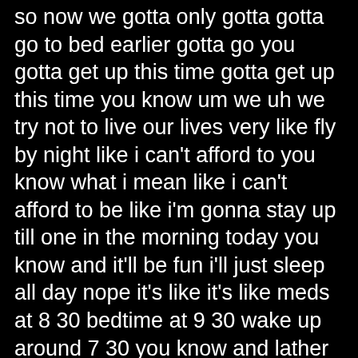so now we gotta only gotta gotta go to bed earlier gotta go you gotta get up this time gotta get up this time you know um we uh we try not to live our lives very like fly by night like i can't afford to you know what i mean like i can't afford to be like i'm gonna stay up till one in the morning today you know and it'll be fun i'll just sleep all day nope it's like it's like meds at 8 30 bedtime at 9 30 wake up around 7 30 you know and lather rinse repeat right right yeah and and i'm i want to preface what i'm about to say by saying uh there's a lot of smart people who've done a lot of research to come up with this diagnostics and statistics manual and figure out these different you know as they're referred to disorders and and the i still tend to question like the dsm frequently um right now